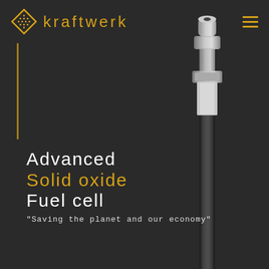[Figure (logo): Kraftwerk logo: diamond shape with dot grid pattern in gold/yellow, followed by the text 'kraftwerk' in gold spaced letters]
Advanced
Solid oxide
Fuel cell
"Saving the planet and our economy"
[Figure (illustration): 3D rendering of a solid oxide fuel cell tubular component — a long cylindrical tube in dark/black with a metallic grey cap/connector at the top, shown vertically on the right side of the page]